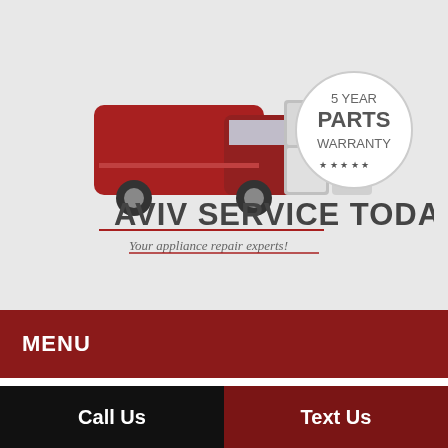[Figure (logo): Aviv Service Today logo featuring a red van with appliances, text 'AVIV SERVICE TODAY - Your appliance repair experts!' and a 5 Year Parts Warranty badge]
MENU
Best of Charleston
BY OFER HUBARA    SEPTEMBER 15, 2014    LOCAL    0
Call Us
Text Us